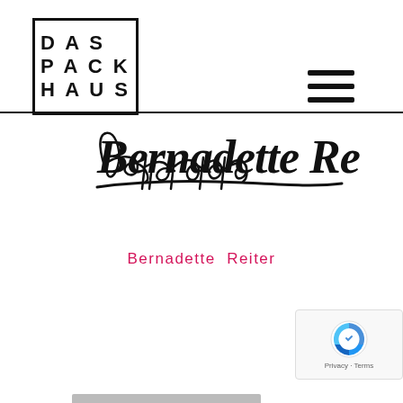[Figure (logo): Das Packhaus logo — bold text 'D A S / P A C K / H A U S' inside a square border]
[Figure (other): Hamburger menu icon — three horizontal black bars]
[Figure (illustration): Handwritten cursive signature 'Bernadette Reiter' with an underline stroke below]
Bernadette Reiter
[Figure (other): reCAPTCHA badge widget — Google reCAPTCHA logo with 'Privacy - Terms' text]
[Figure (other): Gray horizontal bar at bottom of page]